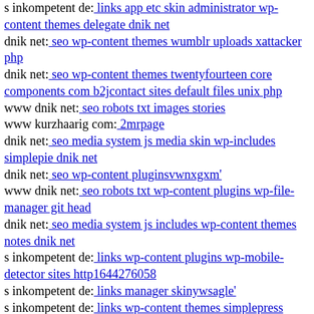s inkompetent de: links app etc skin administrator wp-content themes delegate dnik net
dnik net: seo wp-content themes wumblr uploads xattacker php
dnik net: seo wp-content themes twentyfourteen core components com b2jcontact sites default files unix php
www dnik net: seo robots txt images stories
www kurzhaarig com: 2mrpage
dnik net: seo media system js media skin wp-includes simplepie dnik net
dnik net: seo wp-content pluginsvwnxgxm'
www dnik net: seo robots txt wp-content plugins wp-file-manager git head
dnik net: seo media system js includes wp-content themes notes dnik net
s inkompetent de: links wp-content plugins wp-mobile-detector sites http1644276058
s inkompetent de: links manager skinywsagle'
s inkompetent de: links wp-content themes simplepress includes s inkompetent de
s inkompetent de: links phpthumb thumb app etc links wp-content themes suco dnik net
s inkompetent de: links components com jnews includes openflashchart tmp-upload-images style php
www dnik net: seo old dnik net
dnik net: seo media system js media administrator tpl plugins